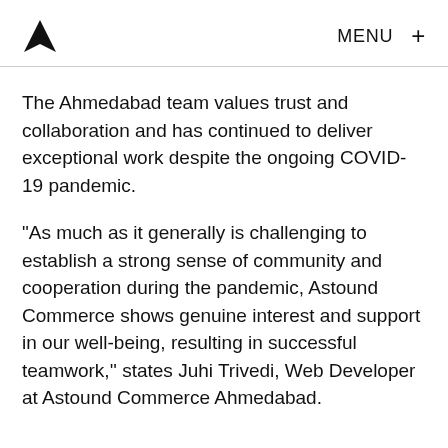MENU +
The Ahmedabad team values trust and collaboration and has continued to deliver exceptional work despite the ongoing COVID-19 pandemic.
“As much as it generally is challenging to establish a strong sense of community and cooperation during the pandemic, Astound Commerce shows genuine interest and support in our well-being, resulting in successful teamwork,’’ states Juhi Trivedi, Web Developer at Astound Commerce Ahmedabad.